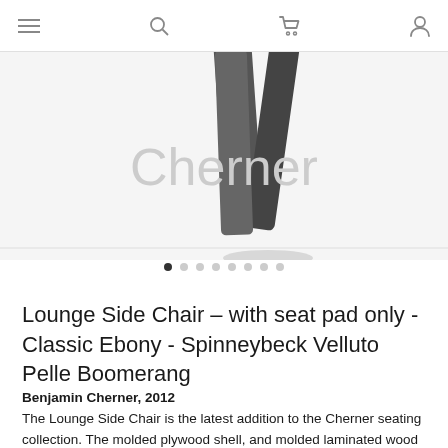Cherner
[Figure (photo): Product hero image showing chair legs of a Lounge Side Chair in Classic Ebony finish, with 'Cherner' brand watermark overlaid on the image. Image slider with 8 dot indicators below.]
Lounge Side Chair – with seat pad only - Classic Ebony - Spinneybeck Velluto Pelle Boomerang
Benjamin Cherner, 2012
The Lounge Side Chair is the latest addition to the Cherner seating collection. The molded plywood shell, and molded laminated wood legs are combined to produce a dynamically